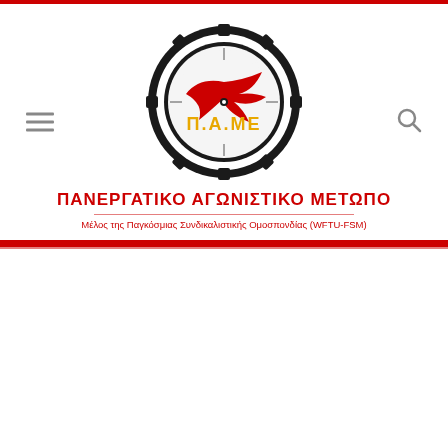[Figure (logo): PAME (Παvεργατικό Αγωνιστικό Μέτωπο) circular gear logo with red bird/flag emblem and golden letters Π.Α.ΜΕ in the center, text around the circle reads ΠΑΝΕΡΓΑΤΙΚΟ ΑΓΩΝΙΣΤΙΚΟ ΜΕΤΩΠΟ]
ΠΑΝΕΡΓΑΤΙΚΟ ΑΓΩΝΙΣΤΙΚΟ ΜΕΤΩΠΟ
Μέλος της Παγκόσμιας Συνδικαλιστικής Ομοσπονδίας (WFTU-FSM)